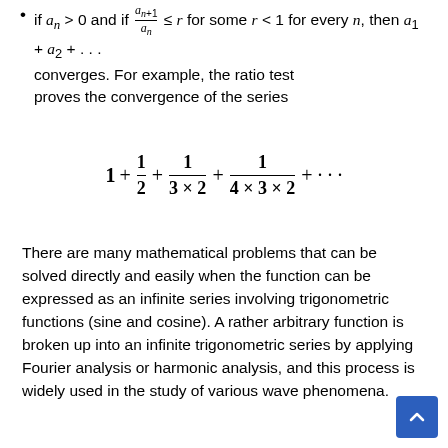if a_n > 0 and if a_{n+1}/a_n ≤ r for some r < 1 for every n, then a_1 + a_2 + ... converges. For example, the ratio test proves the convergence of the series
There are many mathematical problems that can be solved directly and easily when the function can be expressed as an infinite series involving trigonometric functions (sine and cosine). A rather arbitrary function is broken up into an infinite trigonometric series by applying Fourier analysis or harmonic analysis, and this process is widely used in the study of various wave phenomena.